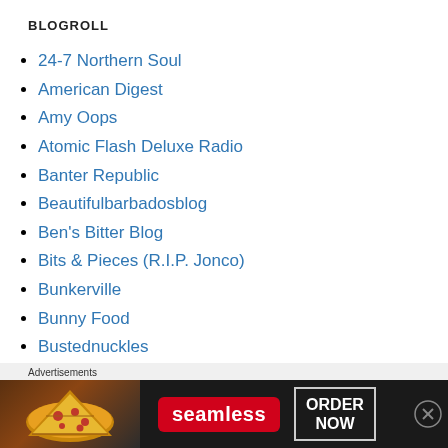BLOGROLL
24-7 Northern Soul
American Digest
Amy Oops
Atomic Flash Deluxe Radio
Banter Republic
Beautifulbarbadosblog
Ben's Bitter Blog
Bits & Pieces (R.I.P. Jonco)
Bunkerville
Bunny Food
Bustednuckles
Advertisements
[Figure (other): Seamless food delivery advertisement banner with pizza image, Seamless logo, and ORDER NOW button]